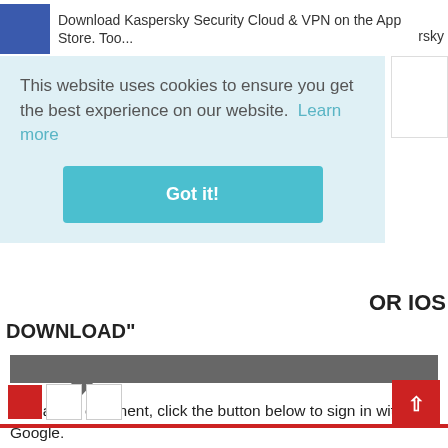Download Kaspersky Security Cloud & VPN on the App Store. Too... ...rsky
This website uses cookies to ensure you get the best experience on our website.  Learn more
Got it!
OR IOS
DOWNLOAD"
To leave a comment, click the button below to sign in with Google.
SIGN IN WITH GOOGLE
Newer Post
Home
Older Post